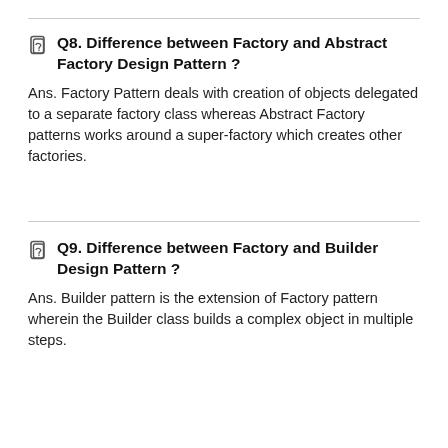Q8. Difference between Factory and Abstract Factory Design Pattern ?
Ans. Factory Pattern deals with creation of objects delegated to a separate factory class whereas Abstract Factory patterns works around a super-factory which creates other factories.
Q9. Difference between Factory and Builder Design Pattern ?
Ans. Builder pattern is the extension of Factory pattern wherein the Builder class builds a complex object in multiple steps.